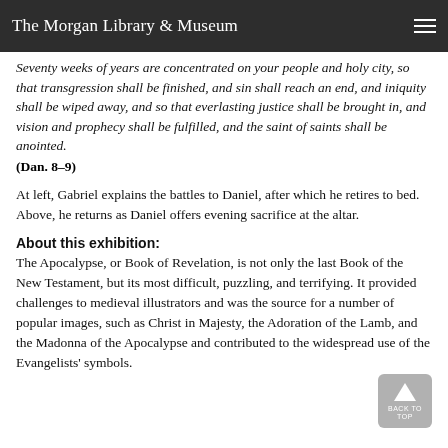The Morgan Library & Museum
Seventy weeks of years are concentrated on your people and holy city, so that transgression shall be finished, and sin shall reach an end, and iniquity shall be wiped away, and so that everlasting justice shall be brought in, and vision and prophecy shall be fulfilled, and the saint of saints shall be anointed. (Dan. 8–9)
At left, Gabriel explains the battles to Daniel, after which he retires to bed. Above, he returns as Daniel offers evening sacrifice at the altar.
About this exhibition:
The Apocalypse, or Book of Revelation, is not only the last Book of the New Testament, but its most difficult, puzzling, and terrifying. It provided challenges to medieval illustrators and was the source for a number of popular images, such as Christ in Majesty, the Adoration of the Lamb, and the Madonna of the Apocalypse and contributed to the widespread use of the Evangelists' symbols.